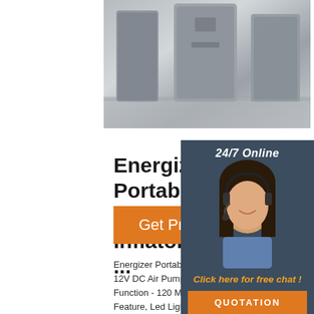[Figure (photo): Partial view of product (air compressor/inflator) on a shelf, gray tones]
[Figure (photo): 24/7 Online chat widget with woman wearing headset, orange QUOTATION button]
Energizer Portable Air Compressor Tire Inflator, 12V DC ...
Energizer Portable Air Compressor Tire Inflator, 12V DC Air Pump for Car Tires with Auto S Function - 120 Max PSI, Preset Pressure Feature, Led Lighting, Digital LCD Display, Carrying Case: Amazon.com.au: Automoti
Get Price
[Figure (logo): Orange TOP logo with dots above letters]